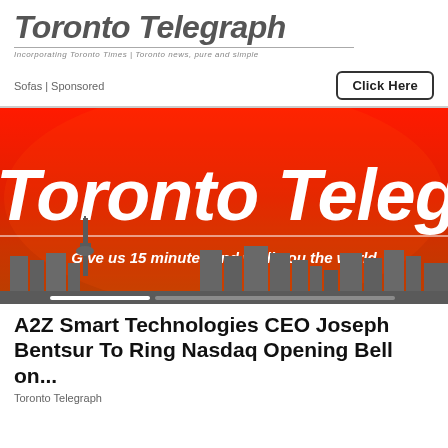Toronto Telegraph
Incorporating Toronto Times | Toronto news, pure and simple
Sofas | Sponsored
Click Here
[Figure (illustration): Toronto Telegraph banner image with red-to-orange gradient background, cityscape silhouette, CN Tower, white bold italic 'Toronto Telegraph' text and tagline 'Give us 15 minutes and we'll you the world']
A2Z Smart Technologies CEO Joseph Bentsur To Ring Nasdaq Opening Bell on...
Toronto Telegraph